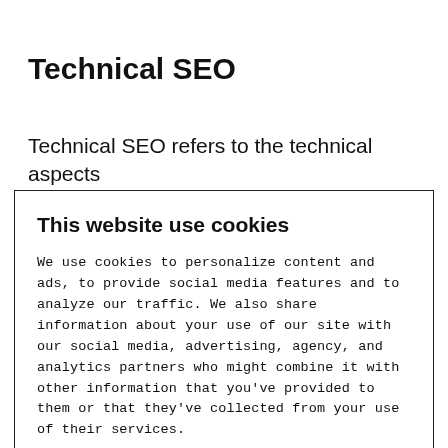Technical SEO
Technical SEO refers to the technical aspects of your website — how fast your website loads
This website use cookies
We use cookies to personalize content and ads, to provide social media features and to analyze our traffic. We also share information about your use of our site with our social media, advertising, agency, and analytics partners who might combine it with other information that you've provided to them or that they've collected from your use of their services.
Allow Cookies
Do not sell my information